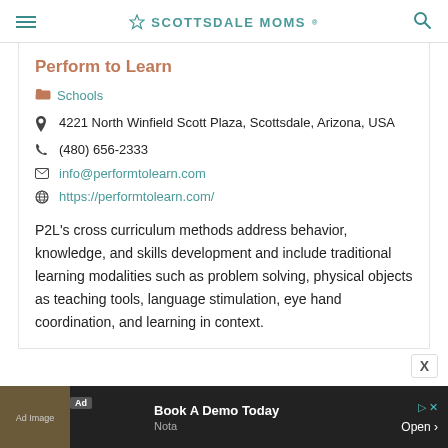SCOTTSDALE MOMS
Perform to Learn
Schools
4221 North Winfield Scott Plaza, Scottsdale, Arizona, USA
(480) 656-2333
info@performtolearn.com
https://performtolearn.com/
P2L's cross curriculum methods address behavior, knowledge, and skills development and include traditional learning modalities such as problem solving, physical objects as teaching tools, language stimulation, eye hand coordination, and learning in context.